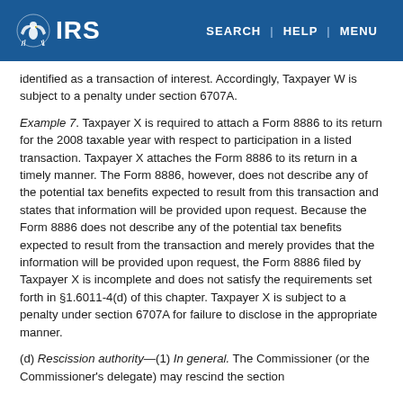IRS — SEARCH | HELP | MENU
identified as a transaction of interest. Accordingly, Taxpayer W is subject to a penalty under section 6707A.
Example 7. Taxpayer X is required to attach a Form 8886 to its return for the 2008 taxable year with respect to participation in a listed transaction. Taxpayer X attaches the Form 8886 to its return in a timely manner. The Form 8886, however, does not describe any of the potential tax benefits expected to result from this transaction and states that information will be provided upon request. Because the Form 8886 does not describe any of the potential tax benefits expected to result from the transaction and merely provides that the information will be provided upon request, the Form 8886 filed by Taxpayer X is incomplete and does not satisfy the requirements set forth in §1.6011-4(d) of this chapter. Taxpayer X is subject to a penalty under section 6707A for failure to disclose in the appropriate manner.
(d) Rescission authority—(1) In general. The Commissioner (or the Commissioner's delegate) may rescind the section